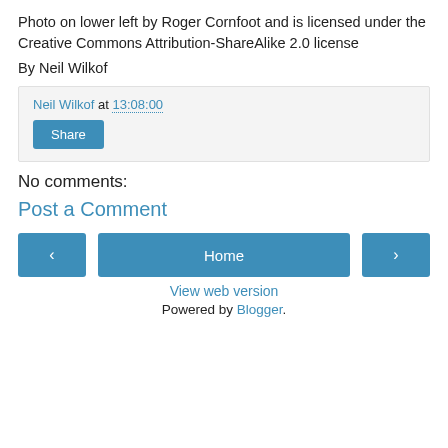Photo on lower left by Roger Cornfoot and is licensed under the Creative Commons Attribution-ShareAlike 2.0 license
By Neil Wilkof
Neil Wilkof at 13:08:00
Share
No comments:
Post a Comment
Home
View web version
Powered by Blogger.